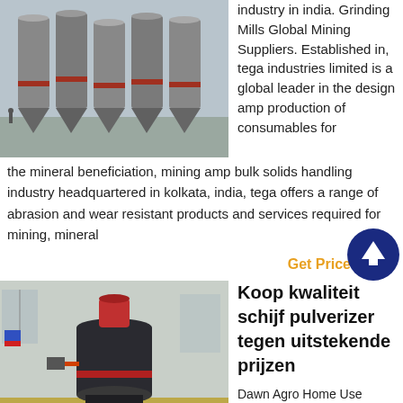[Figure (photo): Industrial grinding mills facility with large silos and hoppers outdoors]
industry in india. Grinding Mills Global Mining Suppliers. Established in, tega industries limited is a global leader in the design amp production of consumables for the mineral beneficiation, mining amp bulk solids handling industry headquartered in kolkata, india, tega offers a range of abrasion and wear resistant products and services required for mining, mineral
Get Price
[Figure (photo): Large industrial disc pulverizer machine inside a factory building]
Koop kwaliteit schijf pulverizer tegen uitstekende prijzen
Dawn Agro Home Use Grinder Mill Machine